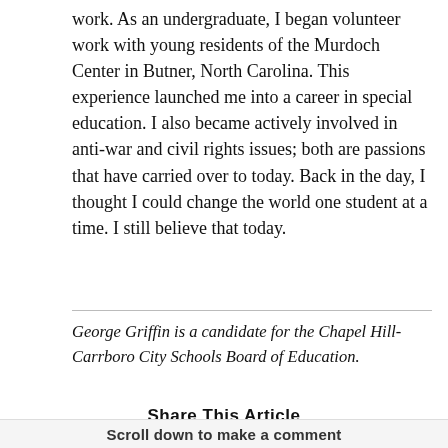work. As an undergraduate, I began volunteer work with young residents of the Murdoch Center in Butner, North Carolina. This experience launched me into a career in special education. I also became actively involved in anti-war and civil rights issues; both are passions that have carried over to today. Back in the day, I thought I could change the world one student at a time. I still believe that today.
George Griffin is a candidate for the Chapel Hill-Carrboro City Schools Board of Education.
Share This Article
[Figure (infographic): Row of social media sharing icons: email (green), Facebook (blue), Twitter (light blue), Instagram (gradient), LinkedIn (blue), Pocket (red), Pinterest (dark red), Reddit (orange), WhatsApp (green), and a link/share icon (yellow)]
Scroll down to make a comment